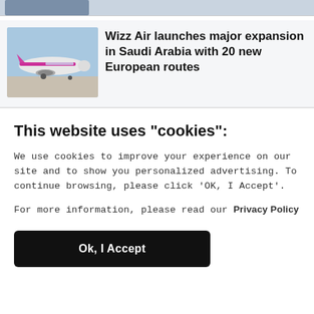[Figure (photo): Cropped top portion of a news article image, partially visible]
[Figure (photo): Wizz Air airplane on a runway with pink livery and clear sky background]
Wizz Air launches major expansion in Saudi Arabia with 20 new European routes
This website uses "cookies":
We use cookies to improve your experience on our site and to show you personalized advertising. To continue browsing, please click 'OK, I Accept'.
For more information, please read our Privacy Policy
Ok, I Accept